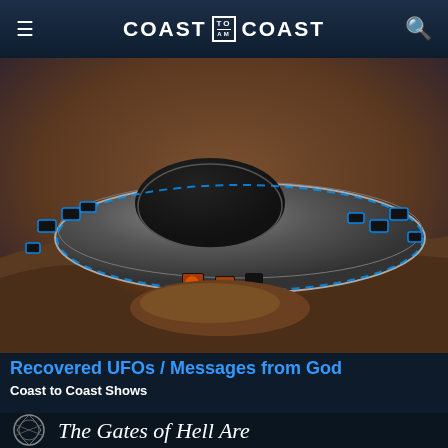COAST TO COAST AM
[Figure (illustration): A sci-fi illustration of a flying saucer / UFO that appears to have crashed or landed on a desert terrain. The craft is silver/metallic with blue glowing accents and rectangular cutouts around its rim, with orange fire/flames visible beneath it. The background shows a barren rocky landscape.]
Recovered UFOs / Messages from God
Coast to Coast Shows
[Figure (photo): Partial view of another article card showing text 'The Gates of Hell Are' in white italic serif font on a dark background, with a small decorative circular Celtic-style symbol on the left side.]